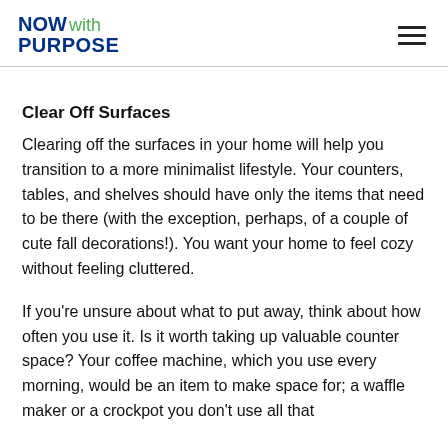NOW with PURPOSE
Clear Off Surfaces
Clearing off the surfaces in your home will help you transition to a more minimalist lifestyle. Your counters, tables, and shelves should have only the items that need to be there (with the exception, perhaps, of a couple of cute fall decorations!). You want your home to feel cozy without feeling cluttered.
If you're unsure about what to put away, think about how often you use it. Is it worth taking up valuable counter space? Your coffee machine, which you use every morning, would be an item to make space for; a waffle maker or a crockpot you don't use all that